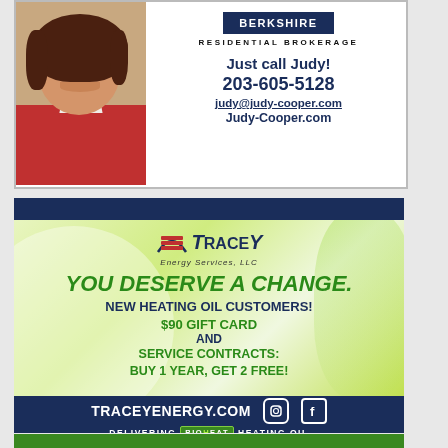[Figure (photo): Woman with brown hair in red jacket — real estate agent photo]
RESIDENTIAL BROKERAGE
Just call Judy!
203-605-5128
judy@judy-cooper.com
Judy-Cooper.com
[Figure (logo): Tracey Energy Services LLC logo with stylized flag icon]
YOU DESERVE A CHANGE.
NEW HEATING OIL CUSTOMERS!
$90 GIFT CARD AND SERVICE CONTRACTS: BUY 1 YEAR, GET 2 FREE!
TRACEYENERGY.COM
DELIVERING BIOHEAT HEATING OIL